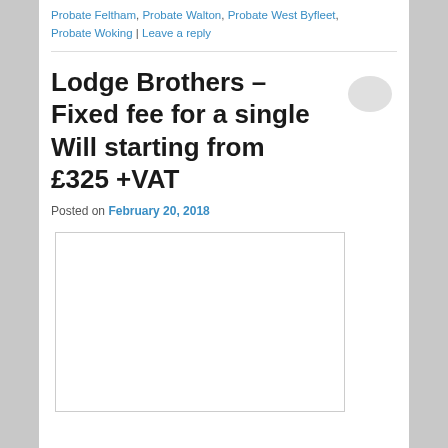Probate Feltham, Probate Walton, Probate West Byfleet, Probate Woking | Leave a reply
Lodge Brothers – Fixed fee for a single Will starting from £325 +VAT
Posted on February 20, 2018
[Figure (photo): Image placeholder with light border, blank white content area]